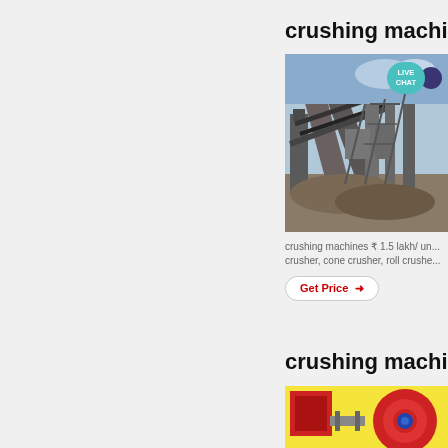crushing machine
[Figure (photo): Industrial crushing machine plant with conveyor belts and heavy equipment, with LIVE CHAT badge overlay]
crushing machines ₹ 1.5 lakh/ un... crusher, cone crusher, roll crushe...
Get Price →
crushing machine
[Figure (photo): Colorful industrial crushing machine illustration with red, yellow and blue components]